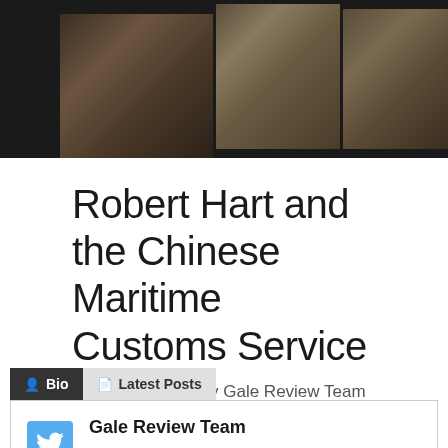[Figure (photo): Sepia-toned vintage photographs of men in suits mounted on a dark background, part of a banner image]
Robert Hart and the Chinese Maritime Customs Service
August 17, 2017 by Gale Review Team
Bio | Latest Posts
Gale Review Team
We upload guest posts on behalf of our visiting writers and editors.